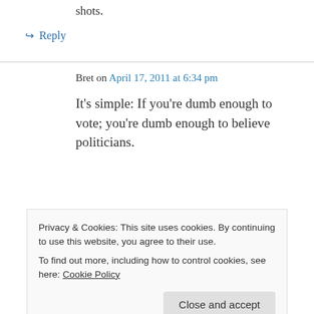shots.
↪ Reply
Bret on April 17, 2011 at 6:34 pm
It's simple: If you're dumb enough to vote; you're dumb enough to believe politicians.
Privacy & Cookies: This site uses cookies. By continuing to use this website, you agree to their use.
To find out more, including how to control cookies, see here: Cookie Policy
Close and accept
Hi, I'm sure your position in this matter